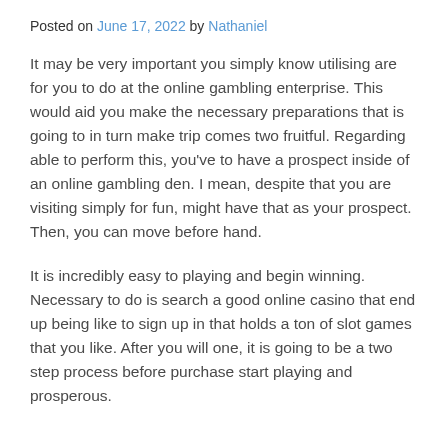Posted on June 17, 2022 by Nathaniel
It may be very important you simply know utilising are for you to do at the online gambling enterprise. This would aid you make the necessary preparations that is going to in turn make trip comes two fruitful. Regarding able to perform this, you've to have a prospect inside of an online gambling den. I mean, despite that you are visiting simply for fun, might have that as your prospect. Then, you can move before hand.
It is incredibly easy to playing and begin winning. Necessary to do is search a good online casino that end up being like to sign up in that holds a ton of slot games that you like. After you will one, it is going to be a two step process before purchase start playing and prosperous.